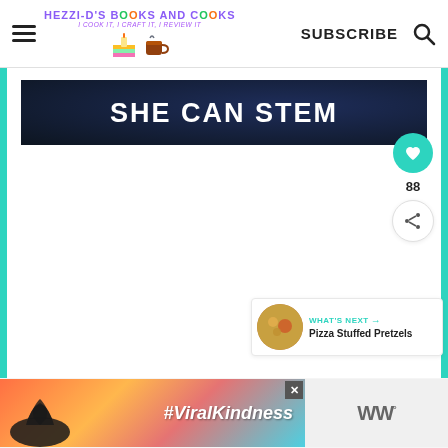HEZZI-D'S BOOKS AND COOKS — SUBSCRIBE
[Figure (screenshot): SHE CAN STEM banner image with dark starfield background and bold white text]
88
WHAT'S NEXT → Pizza Stuffed Pretzels
[Figure (photo): Advertisement banner with heart hands silhouette against sunset sky background, #ViralKindness text, close button, and WW logo]